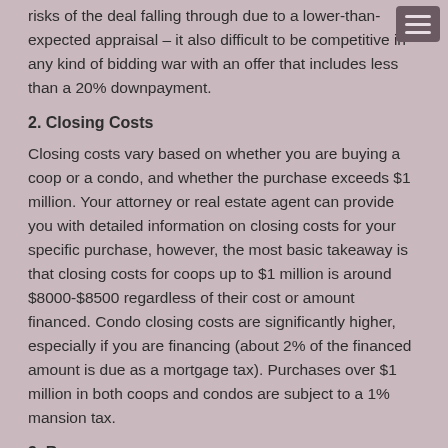risks of the deal falling through due to a lower-than-expected appraisal – it also difficult to be competitive in any kind of bidding war with an offer that includes less than a 20% downpayment.
2. Closing Costs
Closing costs vary based on whether you are buying a coop or a condo, and whether the purchase exceeds $1 million. Your attorney or real estate agent can provide you with detailed information on closing costs for your specific purchase, however, the most basic takeaway is that closing costs for coops up to $1 million is around $8000-$8500 regardless of their cost or amount financed. Condo closing costs are significantly higher, especially if you are financing (about 2% of the financed amount is due as a mortgage tax). Purchases over $1 million in both coops and condos are subject to a 1% mansion tax.
3. Reserves